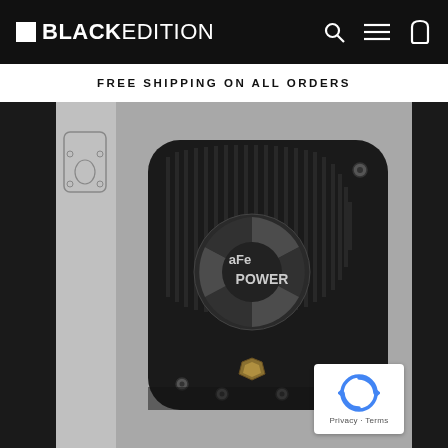BLACK EDITION
FREE SHIPPING ON ALL ORDERS
[Figure (photo): aFe Power differential cover in black finish with machined fins and aFe Power logo, displayed on a gray background. A thumbnail strip showing side/back view is visible on the left. A reCAPTCHA badge appears in the bottom right corner with 'Privacy · Terms' text.]